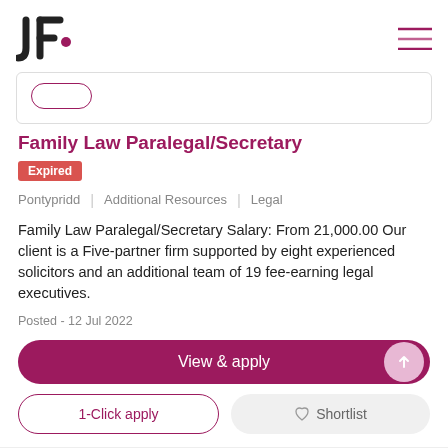JF logo and hamburger menu
Family Law Paralegal/Secretary
Expired
Pontypridd | Additional Resources | Legal
Family Law Paralegal/Secretary Salary: From 21,000.00 Our client is a Five-partner firm supported by eight experienced solicitors and an additional team of 19 fee-earning legal executives.
Posted - 12 Jul 2022
View & apply
1-Click apply
Shortlist